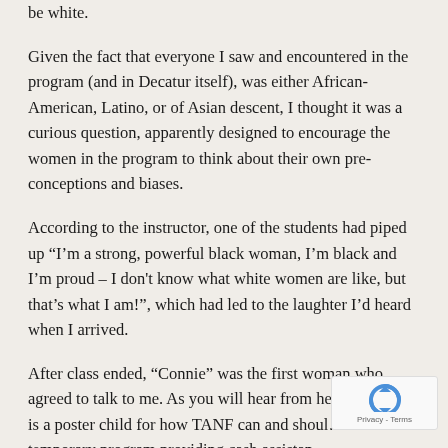be white.
Given the fact that everyone I saw and encountered in the program (and in Decatur itself), was either African-American, Latino, or of Asian descent, I thought it was a curious question, apparently designed to encourage the women in the program to think about their own pre-conceptions and biases.
According to the instructor, one of the students had piped up “I’m a strong, powerful black woman, I’m black and I’m proud – I don't know what white women are like, but that’s what I am!”, which had led to the laughter I’d heard when I arrived.
After class ended, “Connie” was the first woman who agreed to talk to me. As you will hear from her inte… she is a poster child for how TANF can and shoul… – as a temporary program providing cash assistan…